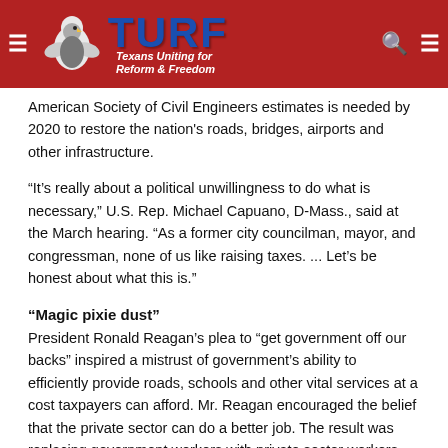[Figure (logo): TURF - Texans Uniting for Reform & Freedom website header with eagle logo on red background]
American Society of Civil Engineers estimates is needed by 2020 to restore the nation's roads, bridges, airports and other infrastructure.
“It’s really about a political unwillingness to do what is necessary,” U.S. Rep. Michael Capuano, D-Mass., said at the March hearing. “As a former city councilman, mayor, and congressman, none of us like raising taxes. ... Let’s be honest about what this is.”
“Magic pixie dust”
President Ronald Reagan’s plea to “get government off our backs” inspired a mistrust of government’s ability to efficiently provide roads, schools and other vital services at a cost taxpayers can afford. Mr. Reagan encouraged the belief that the private sector can do a better job. The result was replacing government workers with private sector workers who mow lawns around government buildings, collect trash, operate school cafeterias and buses, and provide other services under government contracts.